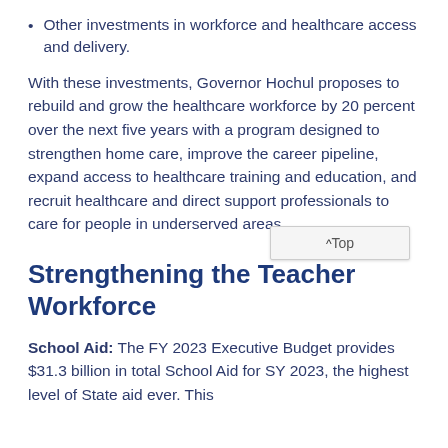Other investments in workforce and healthcare access and delivery.
With these investments, Governor Hochul proposes to rebuild and grow the healthcare workforce by 20 percent over the next five years with a program designed to strengthen home care, improve the career pipeline, expand access to healthcare training and education, and recruit healthcare and direct support professionals to care for people in underserved areas.
Strengthening the Teacher Workforce
School Aid: The FY 2023 Executive Budget provides $31.3 billion in total School Aid for SY 2023, the highest level of State aid ever. This